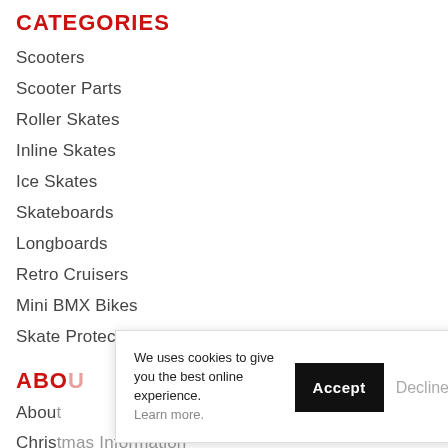CATEGORIES
Scooters
Scooter Parts
Roller Skates
Inline Skates
Ice Skates
Skateboards
Longboards
Retro Cruisers
Mini BMX Bikes
Skate Protection
ABOUT
About
Christmas Information
Our Brands
We uses cookies to give you the best online experience. Learn more.